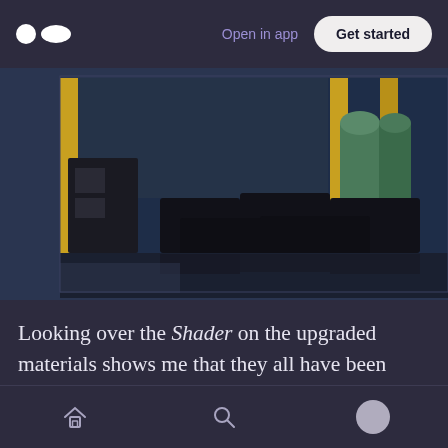Open in app | Get started
[Figure (screenshot): 3D rendered scene showing dark metallic boxes/crates and green cylindrical containers in a warehouse-like environment with yellow structural columns and reflective dark floor]
Looking over the Shader on the upgraded materials shows me that they all have been reassigned to the HDRP/Lit option. If you have a glass material that doesn't look right, the Surface Type option might need to be changed from
Home | Search | Profile